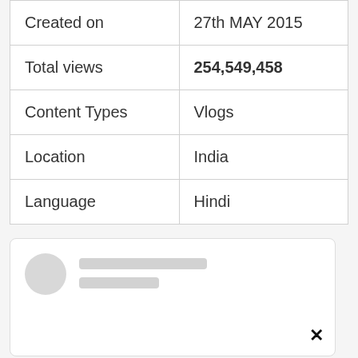| Created on | 27th MAY 2015 |
| Total views | 254,549,458 |
| Content Types | Vlogs |
| Location | India |
| Language | Hindi |
[Figure (other): A social media card placeholder with a circular avatar placeholder on the left and two grey loading skeleton lines on the right, and an X close button in the bottom right corner.]